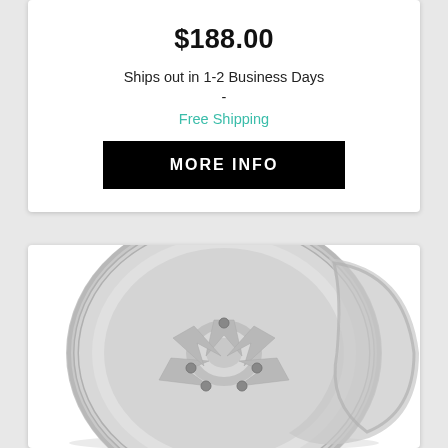$188.00
Ships out in 1-2 Business Days
-
Free Shipping
MORE INFO
[Figure (photo): Silver multi-spoke alloy wheel/rim product photo on white background]